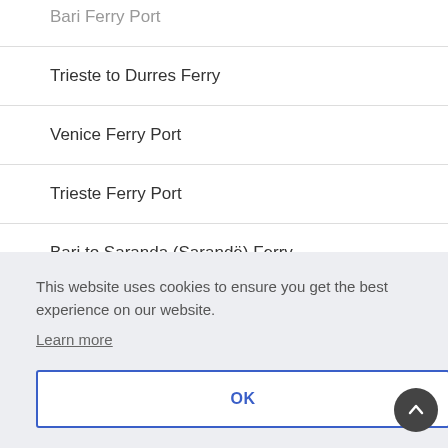Bari Ferry Port
Trieste to Durres Ferry
Venice Ferry Port
Trieste Ferry Port
Bari to Saranda (Sarandë) Ferry
Brindisi to Saranda (Sarandë) Ferry
This website uses cookies to ensure you get the best experience on our website.
Learn more
OK